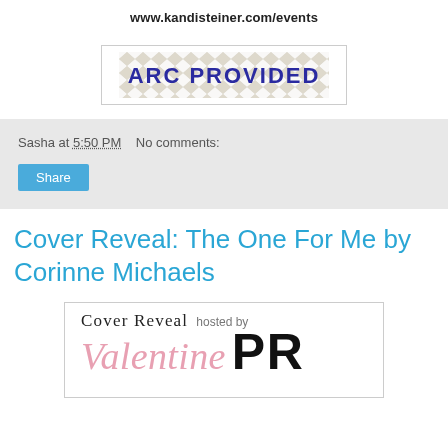www.kandisteiner.com/events
[Figure (other): Badge image with chevron/zigzag pattern background and bold text reading 'ARC PROVIDED' in dark blue/purple on a grey patterned background, inside a light border box.]
Sasha at 5:50 PM    No comments:
Share
Cover Reveal: The One For Me by Corinne Michaels
[Figure (logo): Cover Reveal hosted by Valentine PR logo — serif text 'Cover Reveal' with 'hosted by' in smaller text, and 'Valentine' in pink cursive italic script paired with 'PR' in large bold black sans-serif.]